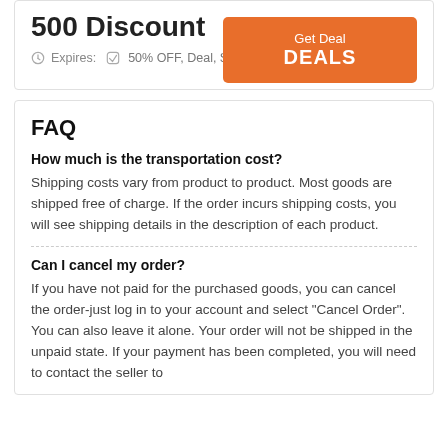500 Discount
Expires: 50% OFF, Deal, Sale
Get Deal DEALS
FAQ
How much is the transportation cost?
Shipping costs vary from product to product. Most goods are shipped free of charge. If the order incurs shipping costs, you will see shipping details in the description of each product.
Can I cancel my order?
If you have not paid for the purchased goods, you can cancel the order-just log in to your account and select "Cancel Order". You can also leave it alone. Your order will not be shipped in the unpaid state. If your payment has been completed, you will need to contact the seller to